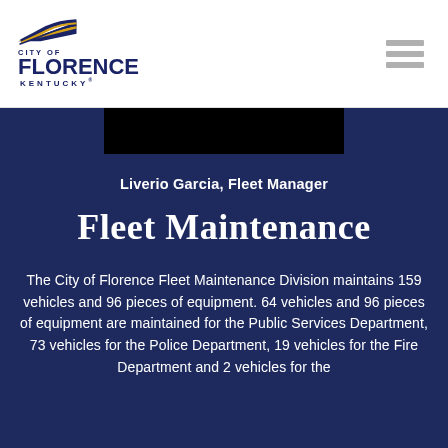[Figure (logo): City of Florence, Kentucky logo with flag graphic and text]
[Figure (photo): Black rectangular image banner in the dark blue section]
Liverio Garcia, Fleet Manager
Fleet Maintenance
The City of Florence Fleet Maintenance Division maintains 159 vehicles and 96 pieces of equipment. 64 vehicles and 96 pieces of equipment are maintained for the Public Services Department, 73 vehicles for the Police Department, 19 vehicles for the Fire Department and 2 vehicles for the